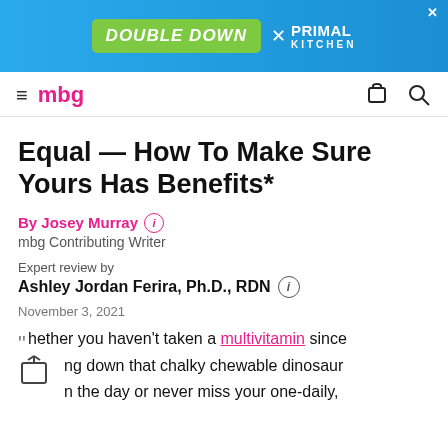[Figure (photo): Advertisement banner for Primal Kitchen with 'Double Down' text on green background and blue background with product bottle]
mbg
Equal — How To Make Sure Yours Has Benefits*
By Josey Murray (i)
mbg Contributing Writer
Expert review by
Ashley Jordan Ferira, Ph.D., RDN (i)
November 3, 2021
"hether you haven't taken a multivitamin since [...]ng down that chalky chewable dinosaur [...]n the day or never miss your one-daily,